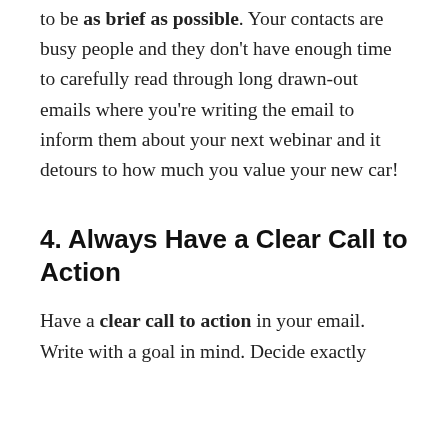to be as brief as possible. Your contacts are busy people and they don't have enough time to carefully read through long drawn-out emails where you're writing the email to inform them about your next webinar and it detours to how much you value your new car!
4. Always Have a Clear Call to Action
Have a clear call to action in your email. Write with a goal in mind. Decide exactly